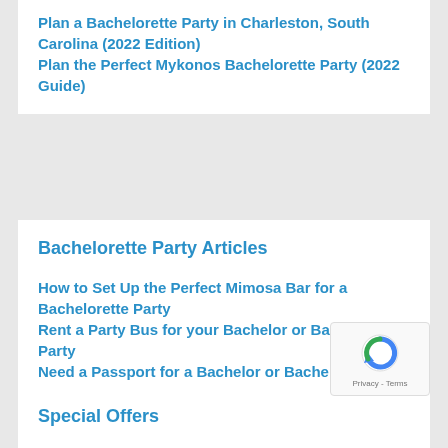Plan a Bachelorette Party in Charleston, South Carolina (2022 Edition)
Plan the Perfect Mykonos Bachelorette Party (2022 Guide)
Bachelorette Party Articles
How to Set Up the Perfect Mimosa Bar for a Bachelorette Party
Rent a Party Bus for your Bachelor or Bachelorette Party
Need a Passport for a Bachelor or Bachelorette Party?
Simple Bachelorette Party Ideas (2022 Guide)
20 Cheap Bachelorette Party Ideas (2022 Edition)
Special Offers